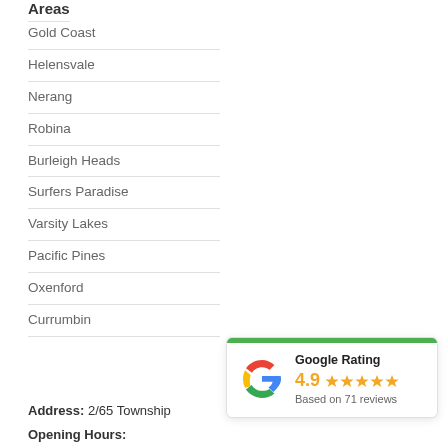Areas
Gold Coast
Helensvale
Nerang
Robina
Burleigh Heads
Surfers Paradise
Varsity Lakes
Pacific Pines
Oxenford
Currumbin
[Figure (other): Google Rating widget showing 4.9 stars based on 71 reviews]
Address: 2/65 Township
Opening Hours: